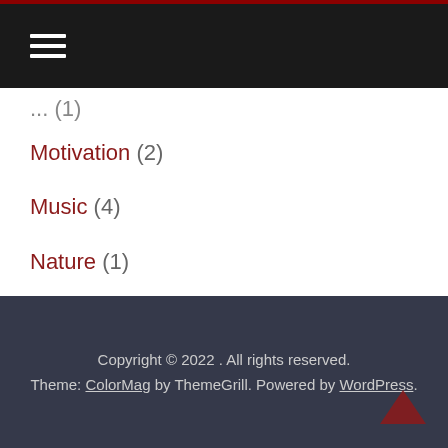Navigation menu bar with hamburger icon
... (1)
Motivation (2)
Music (4)
Nature (1)
Photography (4)
Podcast (2)
Vlog (6)
Work (1)
Copyright © 2022 . All rights reserved. Theme: ColorMag by ThemeGrill. Powered by WordPress.